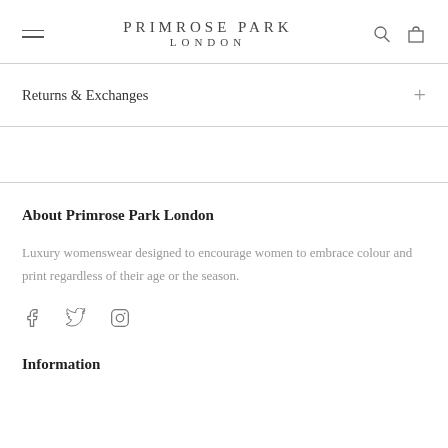PRIMROSE PARK LONDON
Returns & Exchanges
About Primrose Park London
Luxury womenswear designed to encourage women to embrace colour and print regardless of their age or the season.
[Figure (other): Social media icons: Facebook, Twitter, Instagram]
Information